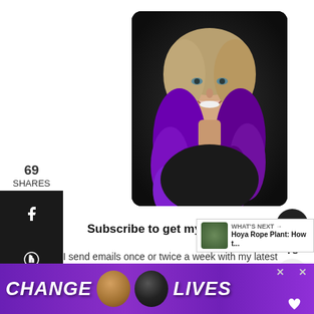[Figure (photo): Portrait photo of a smiling woman with blonde and purple ombre curly hair against a dark background]
69
SHARES
[Figure (infographic): Social media share sidebar with Facebook, Pinterest, Twitter, email, and print icons on dark background]
[Figure (other): Heart/like button showing 78 likes, and a share button on the right side]
Subscribe to get my update...
I send emails once or twice a week with my latest posts and fun finds from the archives. Sign up to
[Figure (photo): What's Next widget showing a small plant photo with text: Hoya Rope Plant: How t...]
[Figure (other): Purple advertisement banner with cats and text: CHANGE LIVES]